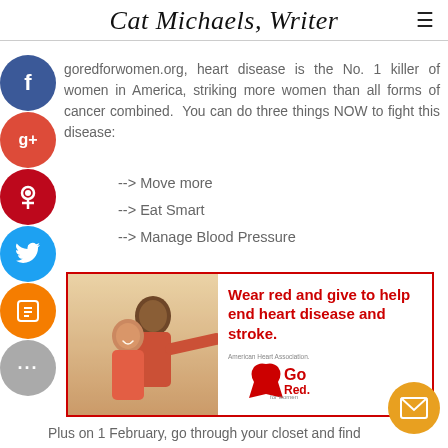Cat Michaels, Writer
goredforwomen.org, heart disease is the No. 1 killer of women in America, striking more women than all forms of cancer combined. You can do three things NOW to fight this disease:
--> Move more
--> Eat Smart
--> Manage Blood Pressure
[Figure (infographic): Go Red for Women advertisement banner with photo of laughing women and text: Wear red and give to help end heart disease and stroke. American Heart Association Go Red for Women logo.]
Plus on 1 February, go through your closet and find